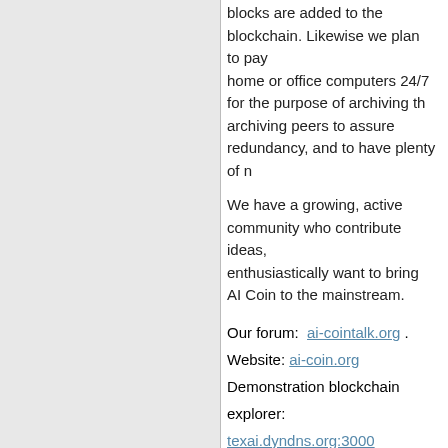blocks are added to the blockchain. Likewise we plan to pay home or office computers 24/7 for the purpose of archiving the archiving peers to assure redundancy, and to have plenty of n
We have a growing, active community who contribute ideas, enthusiastically want to bring AI Coin to the mainstream.
Our forum:  ai-cointalk.org .
Website: ai-coin.org
Demonstration blockchain explorer: texai.dyndns.org:3000
Join Us
-Stephen Reed
18   Alternate cryptocurrencies / Altcoin Discussion / Re: Bitcoin b... Auroracoin
I modified Insight to work with the altcoin that I am developing
Your problem communicating with your altcoin's version of bi connections from Insight.
Here is the configuration file that I used OK.
Code:
# this instance accepts incoming connections
listen=1